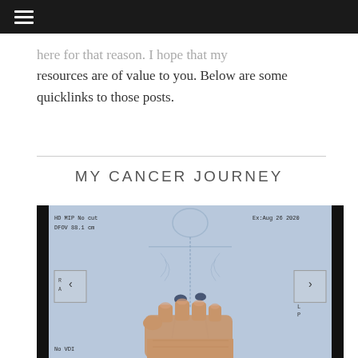☰ (hamburger menu)
resources are of value to you. Below are some quicklinks to those posts.
MY CANCER JOURNEY
[Figure (photo): A medical PET scan image displayed on a lightbox showing a full-body skeletal scan with annotations: 'HD MIP No cut', 'DFOV 88.1 cm', 'Ex:Aug 26 2020', 'R A' and 'L P' orientation markers, 'No VDI'. A hand (fist) is visible in the foreground pointing at the scan. Navigation arrows (< and >) are overlaid on the image.]